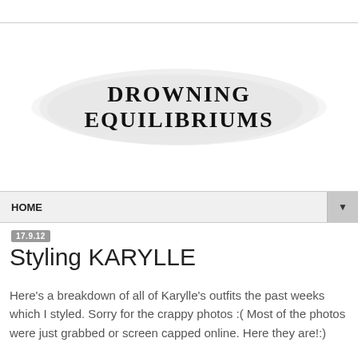DROWNING EQUILIBRIUMS
HOME
17.9.12
Styling KARYLLE
Here's a breakdown of all of Karylle's outfits the past weeks which I styled. Sorry for the crappy photos :( Most of the photos were just grabbed or screen capped online. Here they are!:)